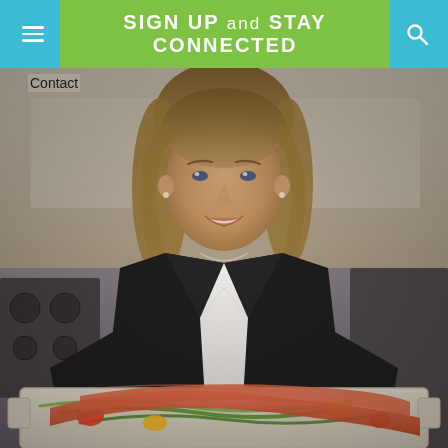Sign Up and Stay Connected
Contact
[Figure (photo): A smiling woman with shoulder-length brown hair wearing a black blazer over a white top, leaning over a baking tray holding salmon fillets with green beans and colorful peppers in a kitchen setting.]